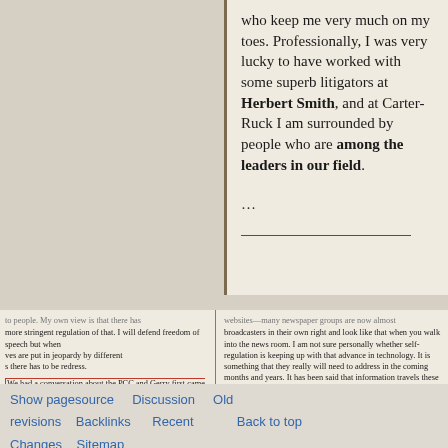who keep me very much on my toes. Professionally, I was very lucky to have worked with some superb litigators at Herbert Smith, and at Carter-Ruck I am surrounded by people who are among the leaders in our field.
...
to people. My own view is that more stringent regulation of that. I will defend freedom of speech but when lives are put in jeopardy by different is there has to be redress. We had a conversation about the PCC and Gerry first came to Carter Ruck. It a short conversation. The PCC is o a considerable extent still correctly, as ly media friendly. It lacks teeth. It cannot
websites—many newspaper groups are now almost broadcasters in their own right and look like that when you walk into the news room. I am not sure personally whether self-regulation is keeping up with that advance in technology. It is something that they really will need to address in the coming months and years. It has been said that information travels these days beyond the speed of thought and I think that does happen more and more frequently. If the press do not keep their own house in order, they may run
Show pagesource   Discussion   Old revisions   Backlinks   Recent   Back to top   Changes   Sitemap